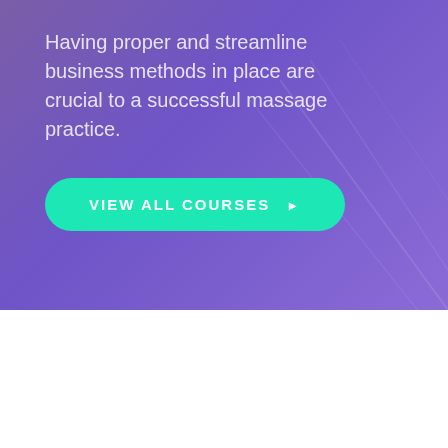Having proper and streamline business methods in place are crucial to a successful massage practice.
[Figure (other): Teal/green rounded pill-shaped call-to-action button reading 'VIEW ALL COURSES ▶' on a purple gradient background with subtle diagonal geometric line overlays]